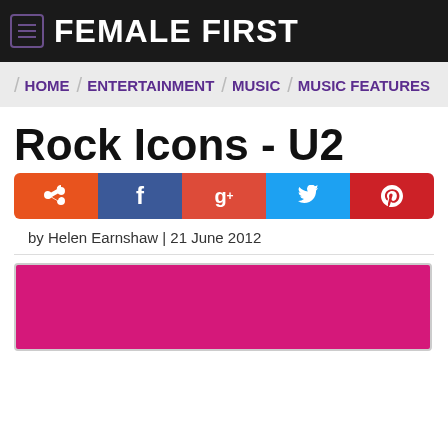FEMALE FIRST
HOME / ENTERTAINMENT / MUSIC / MUSIC FEATURES
Rock Icons - U2
[Figure (other): Social sharing buttons: Stumbleupon, Facebook, Google+, Twitter, Pinterest]
by Helen Earnshaw | 21 June 2012
[Figure (photo): Pink/magenta colored image area, partially visible]